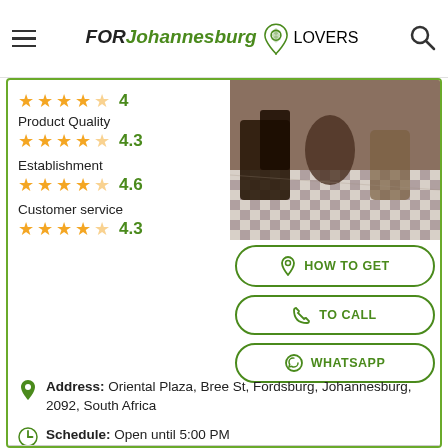FOR Johannesburg LOVERS
Product Quality ★★★★☆ 4.3
Establishment ★★★★☆ 4.6
Customer service ★★★★☆ 4.3
[Figure (photo): Interior photo showing decorative items on a checkered floor]
HOW TO GET
TO CALL
WHATSAPP
Address: Oriental Plaza, Bree St, Fordsburg, Johannesburg, 2092, South Africa
Schedule: Open until 5:00 PM
Telephone: +27 11 838 5806
Guy: Pet store